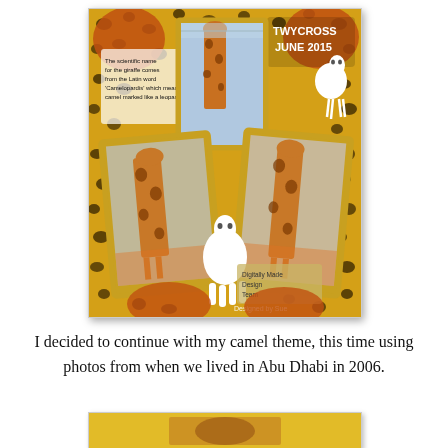[Figure (photo): A scrapbook-style collage of giraffe photos taken at Twycross Zoo in June 2015. The background has a leopard-print pattern. Three yellow-framed polaroid-style photos show giraffes inside an indoor enclosure. A white cartoon llama/camel illustration sits in the center-bottom. Text overlay reads 'TWYCROSS JUNE 2015'. A smaller text box in the upper-left reads: 'The scientific name for the giraffe comes from the Latin word Camelopardis which means camel marked like a leopard'. Bottom has watermark text 'Digitally Made Design Team' and 'Designed by Sue'.]
I decided to continue with my camel theme, this time using photos from when we lived in Abu Dhabi in 2006.
[Figure (photo): Bottom portion of another scrapbook page visible, showing a yellow/gold background with what appears to be another animal photo, partially cropped.]